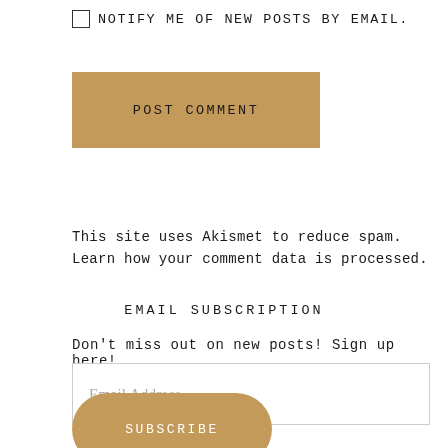NOTIFY ME OF NEW POSTS BY EMAIL.
POST COMMENT
This site uses Akismet to reduce spam. Learn how your comment data is processed.
EMAIL SUBSCRIPTION
Don't miss out on new posts! Sign up here!
Email Address
SUBSCRIBE